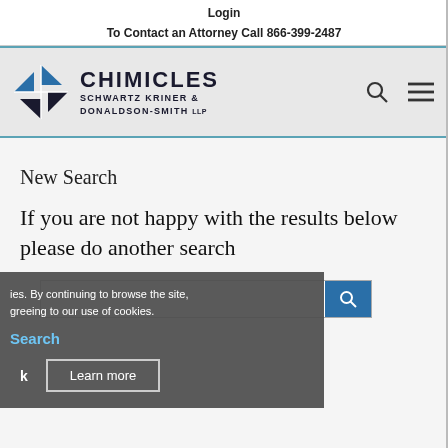Login
To Contact an Attorney Call 866-399-2487
[Figure (logo): Chimicles Schwartz Kriner & Donaldson-Smith LLP law firm logo with blue and black compass/star icon and firm name in bold serif text]
New Search
If you are not happy with the results below please do another search
cookies. By continuing to browse the site, agreeing to our use of cookies.
Search
k
Learn more